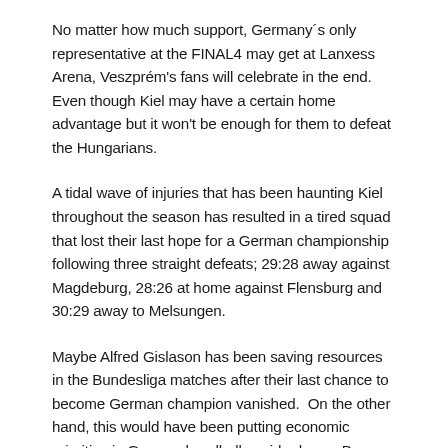No matter how much support, Germany´s only representative at the FINAL4 may get at Lanxess Arena, Veszprém's fans will celebrate in the end.  Even though Kiel may have a certain home advantage but it won't be enough for them to defeat the Hungarians.
A tidal wave of injuries that has been haunting Kiel throughout the season has resulted in a tired squad that lost their last hope for a German championship following three straight defeats; 29:28 away against Magdeburg, 28:26 at home against Flensburg and 30:29 away to Melsungen.
Maybe Alfred Gislason has been saving resources in the Bundesliga matches after their last chance to become German champion vanished.  On the other hand, this would have been putting economic priorities in German handball upside down.  By now, the team looks exhausted.